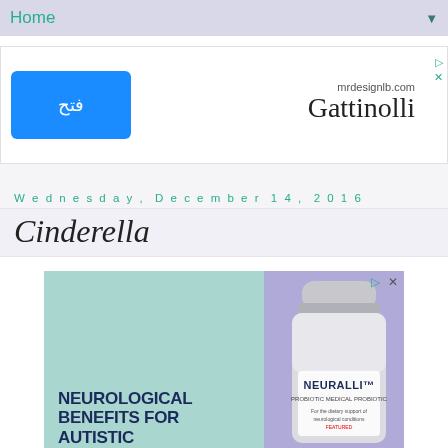Home
[Figure (other): Advertisement banner with Arabic button 'فتح' (Open) and brand text 'Gattinolli' and 'mrdesignlb.com']
Wednesday, December 14, 2016
Cinderella
[Figure (other): Advertisement banner: 'NEUROLOGICAL BENEFITS FOR AUTISTIC PEOPLE' with NEURALLI probiotic supplement bottle on light blue and purple background]